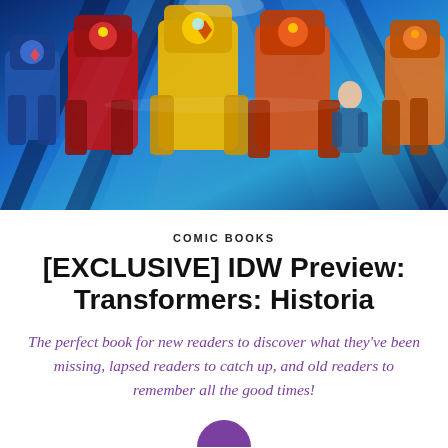[Figure (illustration): Comic book cover art showing multiple Transformers robot characters including Autobots in blue, red, yellow and orange colors against a dynamic blue and teal geometric background with light rays]
COMIC BOOKS
[EXCLUSIVE] IDW Preview: Transformers: Historia
The perfect book for new readers to discover what they've been missing, lapsed readers to catch up, and old readers to remember all the good times!
[Figure (photo): Partially visible circular avatar/profile photo with purple color, cropped at bottom of page]